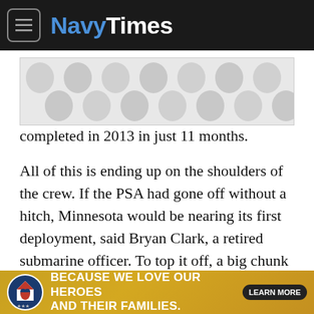NavyTimes
[Figure (other): Advertisement placeholder with grey dot pattern]
completed in 2013 in just 11 months.
All of this is ending up on the shoulders of the crew. If the PSA had gone off without a hitch, Minnesota would be nearing its first deployment, said Bryan Clark, a retired submarine officer. To top it off, a big chunk of the plankowners are likely never to deploy with their boat.
"For the crew it sucks because most of them came on not long before commissioning with the understanding that they would be
[Figure (other): Fisher House Foundation advertisement banner: BECAUSE WE LOVE OUR HEROES AND THEIR FAMILIES. LEARN MORE]